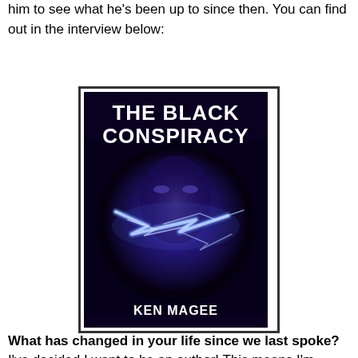him to see what he's been up to since then. You can find out in the interview below:
[Figure (illustration): Book cover of 'The Black Conspiracy' by Ken Magee. Dark background with a face partially visible, overlaid with dramatic blue/purple lightning bolts. White bold text at top reads 'THE BLACK CONSPIRACY' and white bold text at bottom reads 'KEN MAGEE'.]
What has changed in your life since we last spoke?
I've decided I want to be an author! This means I'm